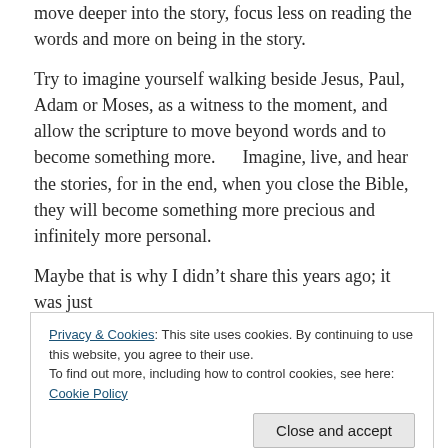move deeper into the story, focus less on reading the words and more on being in the story.
Try to imagine yourself walking beside Jesus, Paul, Adam or Moses, as a witness to the moment, and allow the scripture to move beyond words and to become something more.     Imagine, live, and hear the stories, for in the end, when you close the Bible, they will become something more precious and infinitely more personal.
Maybe that is why I didn't share this years ago; it was just
Privacy & Cookies: This site uses cookies. By continuing to use this website, you agree to their use.
To find out more, including how to control cookies, see here: Cookie Policy
day disappeared, I started to picture the moment.